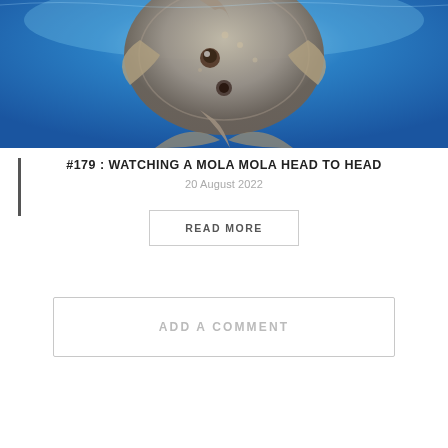[Figure (photo): Underwater photo of a Mola Mola (ocean sunfish) seen from below against a blue ocean background]
#179 : WATCHING A MOLA MOLA HEAD TO HEAD
20 August 2022
READ MORE
ADD A COMMENT